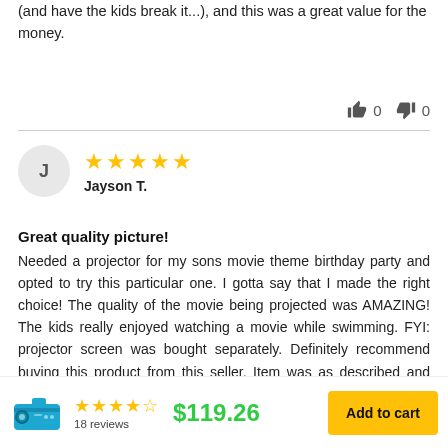(and have the kids break it...), and this was a great value for the money.
👍 0  👎 0
J  ★★★★★  Jayson T.
Great quality picture!
Needed a projector for my sons movie theme birthday party and opted to try this particular one. I gotta say that I made the right choice! The quality of the movie being projected was AMAZING! The kids really enjoyed watching a movie while swimming. FYI: projector screen was bought separately. Definitely recommend buying this product from this seller. Item was as described and was shipped fast. Loved this projector, especially the price!
★★★★☆ 18 reviews  $119.26  Add to cart